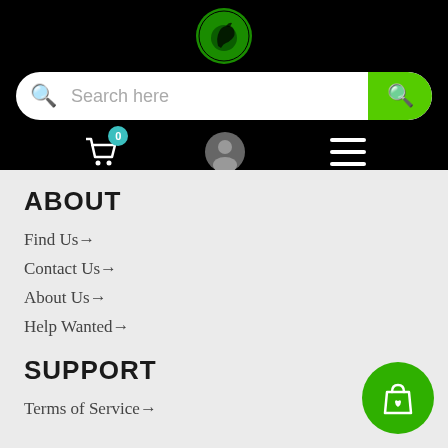[Figure (logo): Green circular logo with dark horse silhouette and text on black background]
[Figure (screenshot): Search bar with 'Search here' placeholder text and green search button]
[Figure (screenshot): Navigation icons: shopping cart with badge '0', user profile icon, hamburger menu on black background]
ABOUT
Find Us→
Contact Us→
About Us→
Help Wanted→
SUPPORT
Terms of Service→
[Figure (illustration): Green circular floating action button with shopping bag and heart icon]